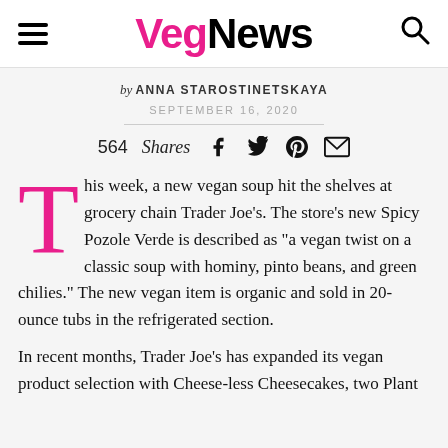VegNews
by ANNA STAROSTINETSKAYA
SEPTEMBER 16, 2020
564 Shares
This week, a new vegan soup hit the shelves at grocery chain Trader Joe’s. The store’s new Spicy Pozole Verde is described as “a vegan twist on a classic soup with hominy, pinto beans, and green chilies.” The new vegan item is organic and sold in 20-ounce tubs in the refrigerated section.
In recent months, Trader Joe’s has expanded its vegan product selection with Cheese-less Cheesecakes, two Plant